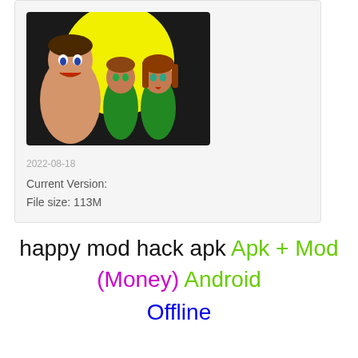[Figure (illustration): Cartoon illustration showing three animated characters: a muscular man on the left, a young boy in the center wearing green, and a young girl on the right wearing green, against a yellow circular background on black.]
2022-08-18
Current Version:
File size: 113M
happy mod hack apk Apk + Mod (Money) Android
Offline